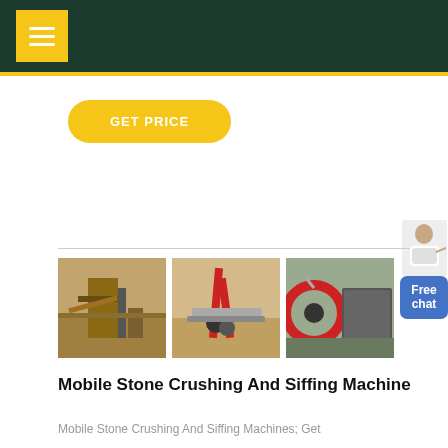Navigation menu header bar with hamburger icon
GET PRICE
[Figure (photo): Three photos of stone crushing and mining equipment at outdoor sites]
Mobile Stone Crushing And Siffing Machine
Mobile Stone Crushing And Siffing Machines; Get